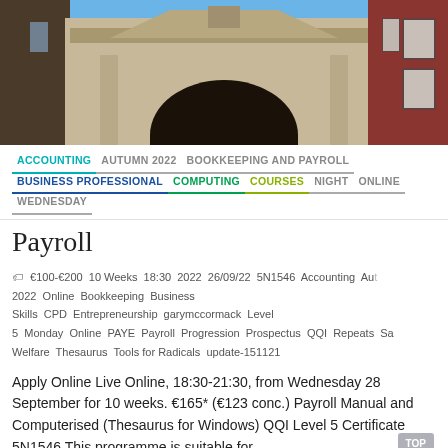[Figure (photo): Exterior photograph of a stone building with classical architectural elements including a triangular pediment, arched doorway, and adjacent brick building. Blue sky visible above.]
ACCOUNTING  AUTUMN 2022  BOOKKEEPING AND PAYROLL  BUSINESS PROFESSIONAL  COMPUTING  COURSES  NIGHT  ONLINE  WEDNESDAY
Payroll
€100-€200  10 Weeks  18:30  2022  26/09/22  5N1546  Accounting  Autumn 2022  Online  Bookkeeping  Business Skills  CPD  Entrepreneurship  garymccormack  Level 5  Monday  Online  PAYE  Payroll  Progression  Prospectus  QQI  Repeats  Saturday  Welfare  Thesaurus  Tools for Radicals  update-151121
Apply Online Live Online, 18:30-21:30, from Wednesday 28 September for 10 weeks. €165* (€123 conc.) Payroll Manual and Computerised (Thesaurus for Windows) QQI Level 5 Certificate 5N1546 This programme is suitable for